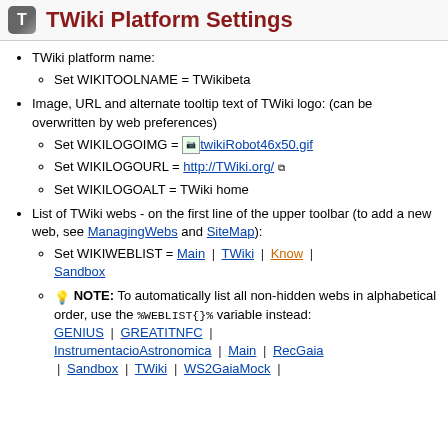TWiki Platform Settings
TWiki platform name:
Set WIKITOOLNAME = TWikibeta
Image, URL and alternate tooltip text of TWiki logo: (can be overwritten by web preferences)
Set WIKILOGOIMG = [twikiRobot46x50.gif]
Set WIKILOGOURL = http://TWiki.org/
Set WIKILOGOALT = TWiki home
List of TWiki webs - on the first line of the upper toolbar (to add a new web, see ManagingWebs and SiteMap):
Set WIKIWEBLIST = Main | TWiki | Know | Sandbox
NOTE: To automatically list all non-hidden webs in alphabetical order, use the %WEBLIST{}% variable instead: GENIUS | GREATITNFC | InstrumentacioAstronomica | Main | RecGaia | Sandbox | TWiki | WS2GaiaMock |